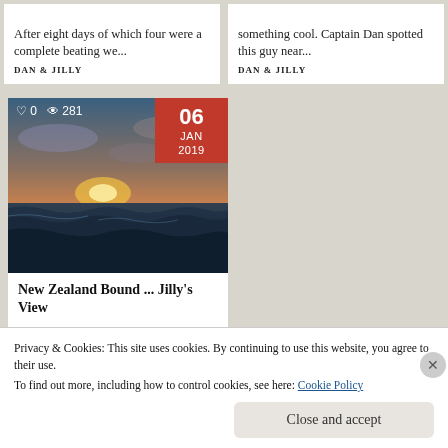After eight days of which four were a complete beating we...
DAN & JILLY
something cool. Captain Dan spotted this guy near...
DAN & JILLY
[Figure (photo): Ocean sunset photo with waves, date badge '06 JAN 2019', stats showing 0 likes and 281 views]
New Zealand Bound ... Jilly's View
Privacy & Cookies: This site uses cookies. By continuing to use this website, you agree to their use.
To find out more, including how to control cookies, see here: Cookie Policy
Close and accept